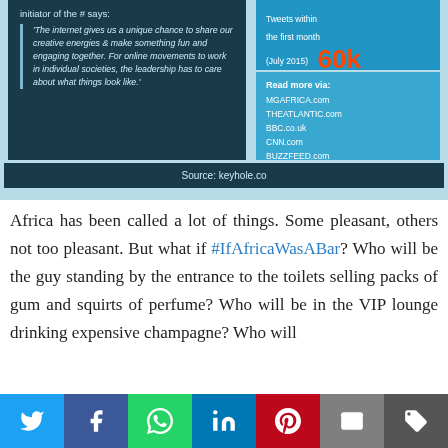[Figure (infographic): Infographic snippet showing a quote from the initiator of a hashtag campaign, tweet statistics (60k tweets within the first month July 2015), and links to read more via various websites.]
initiator of the # says:
'The internet gives us a unique chance to share our creative energies & make something fun and engaging together. For online movements to work in individual societies, the leadership has to care about what things look like.'
Tweets within the first month (July 2015) 60k
Read more via: MGAFRICA.com THEATLANTIC.com BBC.co.uk CNN.com BUZZFEED.com YOUTUBE.com
Source: keyhole.co
Africa has been called a lot of things. Some pleasant, others not too pleasant. But what if #IfAfricaWasABar? Who will be the guy standing by the entrance to the toilets selling packs of gum and squirts of perfume? Who will be in the VIP lounge drinking expensive champagne? Who will
[Figure (infographic): Social sharing bar with icons for Twitter, Facebook, WhatsApp, LinkedIn, Pinterest, Email, and More options.]